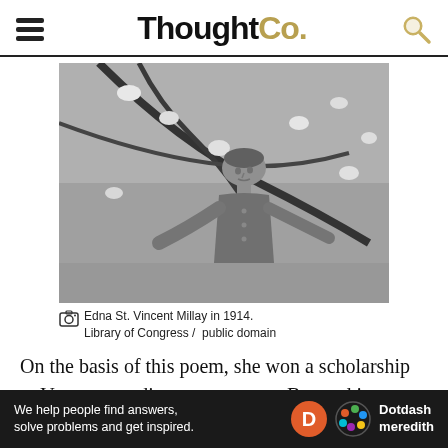ThoughtCo.
[Figure (photo): Black and white photograph of Edna St. Vincent Millay in 1914, standing outdoors among flowering magnolia tree branches.]
Edna St. Vincent Millay in 1914. Library of Congress / public domain
On the basis of this poem, she won a scholarship to Vassar, spending a semester at Barnard in preparation. She continued to write and publish poetry while in college, and also enjoyed
[Figure (other): Dotdash Meredith advertisement banner: 'We help people find answers, solve problems and get inspired.']